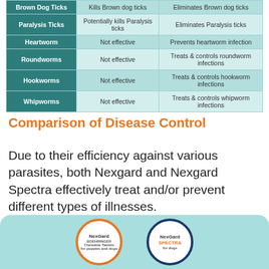|  | Nexgard | Nexgard Spectra |
| --- | --- | --- |
| Brown Dog Ticks | Kills Brown dog ticks | Eliminates Brown dog ticks |
| Paralysis Ticks | Potentially kills Paralysis ticks | Eliminates Paralysis ticks |
| Heartworm | Not effective | Prevents heartworm infection |
| Roundworms | Not effective | Treats & controls roundworm infections |
| Hookworms | Not effective | Treats & controls hookworm infections |
| Whipworms | Not effective | Treats & controls whipworm infections |
Comparison of Disease Control
Due to their efficiency against various parasites, both Nexgard and Nexgard Spectra effectively treat and/or prevent different types of illnesses.
[Figure (illustration): Two circular product images side by side on a teal background: left circle with orange border showing NexGard product box, right circle with dark blue border showing NexGard Spectra product box.]